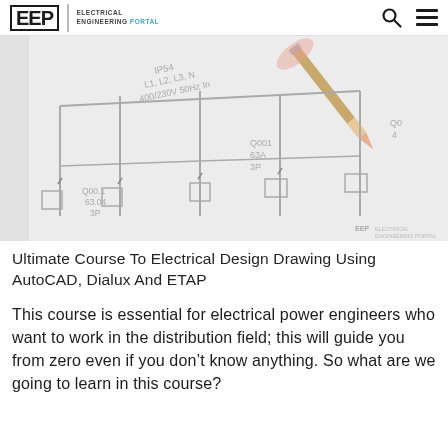EEP | ELECTRICAL ENGINEERING PORTAL
[Figure (photo): Close-up photo of an electrical schematic drawing on paper showing components labeled Q00.1, 63A, 3P, Q001, IP54, L1, L2, L3, N, 400/230V 50Hz, with a pencil pointing at the diagram. EEP watermark visible in bottom right.]
Ultimate Course To Electrical Design Drawing Using AutoCAD, Dialux And ETAP
This course is essential for electrical power engineers who want to work in the distribution field; this will guide you from zero even if you don't know anything. So what are we going to learn in this course?